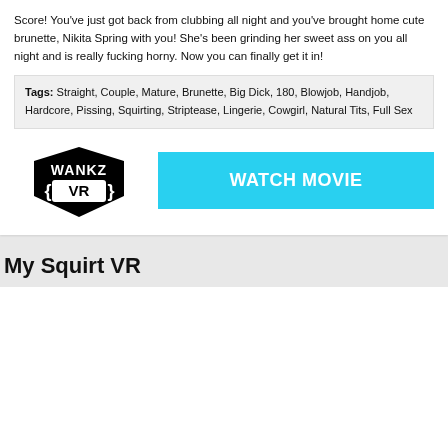Score! You've just got back from clubbing all night and you've brought home cute brunette, Nikita Spring with you! She's been grinding her sweet ass on you all night and is really fucking horny. Now you can finally get it in!
Tags: Straight, Couple, Mature, Brunette, Big Dick, 180, Blowjob, Handjob, Hardcore, Pissing, Squirting, Striptease, Lingerie, Cowgirl, Natural Tits, Full Sex
[Figure (logo): WANKZ VR logo in black and white]
WATCH MOVIE
My Squirt VR